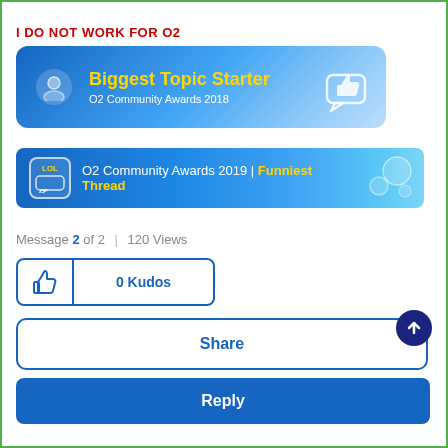I DO NOT WORK FOR O2
[Figure (illustration): Biggest Topic Starter badge - O2 Community Awards 2018, blue gradient banner with thumbs up icon]
[Figure (illustration): O2 Community Awards 2019 Funniest Thread badge - blue banner with LOL speech bubble icon and bubbles]
Message 2 of 2 | 120 Views
[Figure (other): 0 Kudos button with thumbs up icon]
[Figure (other): Share button with up arrow]
[Figure (other): Reply button]